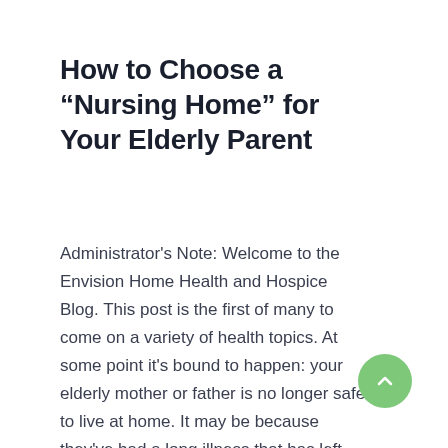How to Choose a “Nursing Home” for Your Elderly Parent
Administrator's Note: Welcome to the Envision Home Health and Hospice Blog. This post is the first of many to come on a variety of health topics. At some point it's bound to happen: your elderly mother or father is no longer safe to live at home. It may be because they've had a long illness that has left them debilitated—or they keep falling and hurting themselves—or they just need a little …